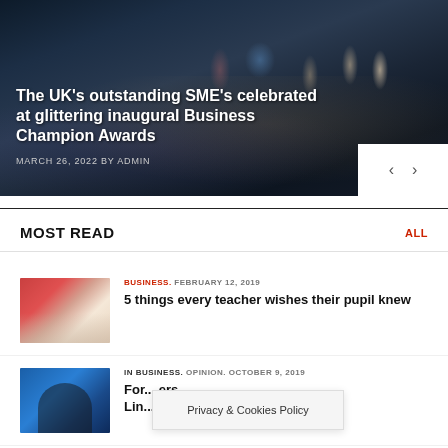[Figure (photo): Group photo of award winners at a gala event, crowd in formal attire on a dark stage with event branding in background]
The UK's outstanding SME's celebrated at glittering inaugural Business Champion Awards
MARCH 26, 2022 BY ADMIN
MOST READ
[Figure (photo): Woman in red dress sitting at desk writing or working on papers]
BUSINESS. FEBRUARY 12, 2019
5 things every teacher wishes their pupil knew
[Figure (photo): Young man in black clothing against a blue background]
IN BUSINESS. OPINION. OCTOBER 9, 2019
For... ers Lin... ould
Privacy & Cookies Policy